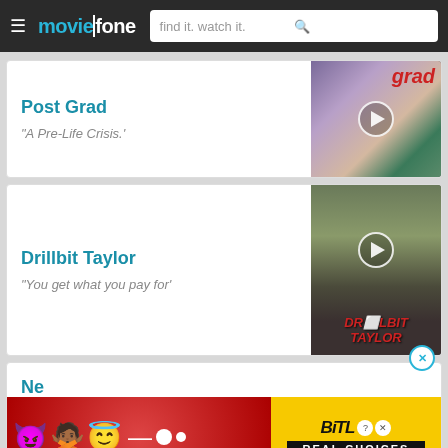moviefone — find it. watch it.
Post Grad
"A Pre-Life Crisis.'
[Figure (photo): Post Grad movie poster thumbnail with play button overlay]
Drillbit Taylor
"You get what you pay for'
[Figure (photo): Drillbit Taylor movie poster thumbnail with play button overlay]
Ne...
[Figure (infographic): BitLife advertisement banner with emojis and 'REAL CHOICES' text]